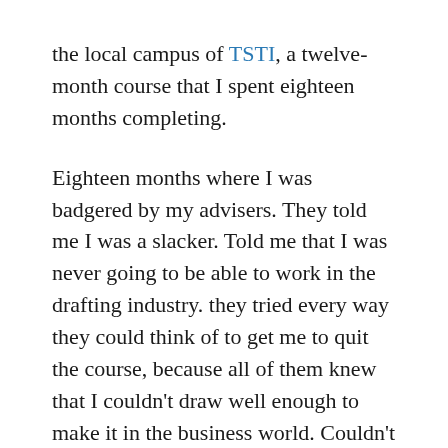the local campus of TSTI, a twelve-month course that I spent eighteen months completing.
Eighteen months where I was badgered by my advisers. They told me I was a slacker. Told me that I was never going to be able to work in the drafting industry. they tried every way they could think of to get me to quit the course, because all of them knew that I couldn't draw well enough to make it in the business world. Couldn't apply myself with enough diligence to produce the work required of a draftsman.
But the instructors at the TSTI campus had taken delivery of a CAD system during my time